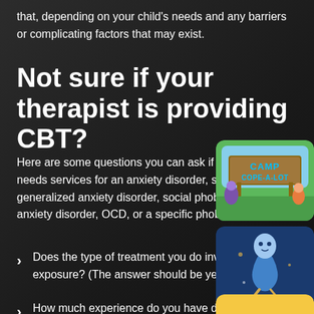that, depending on your child's needs and any barriers or complicating factors that may exist.
Not sure if your therapist is providing CBT?
Here are some questions you can ask if your child needs services for an anxiety disorder, such as generalized anxiety disorder, social phobia, separation anxiety disorder, OCD, or a specific phobia:
[Figure (illustration): Camp Cope-A-Lot logo: green rounded rectangle with cartoon characters and a wooden sign reading CAMP COPE-A-LOT]
[Figure (illustration): Blue rounded rectangle with a cartoon genie or spirit character in gold/white on dark blue background]
Does the type of treatment you do involve exposure? (The answer should be yes.)
[Figure (illustration): Yellow/orange rounded rectangle partially visible at bottom right]
How much experience do you have diagnosing…